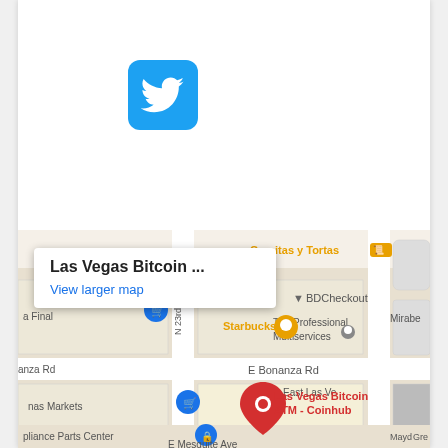[Figure (logo): Twitter bird logo icon — white bird on blue rounded-square background]
[Figure (map): Google Maps screenshot showing Las Vegas Bitcoin ATM - Coinhub location near E Bonanza Rd and N 23rd St in Las Vegas. Map shows nearby landmarks: Carnitas y Tortas, BDCheckout, The Professional Multiservices, Starbucks, nas Markets, pliance Parts Center, Mirabel. A red pin marks Las Vegas Bitcoin ATM - Coinhub. A popup tooltip reads 'Las Vegas Bitcoin ...' with 'View larger map' link.]